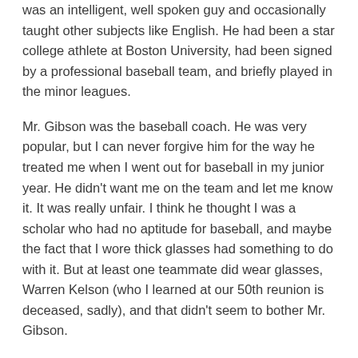was an intelligent, well spoken guy and occasionally taught other subjects like English. He had been a star college athlete at Boston University, had been signed by a professional baseball team, and briefly played in the minor leagues.
Mr. Gibson was the baseball coach. He was very popular, but I can never forgive him for the way he treated me when I went out for baseball in my junior year. He didn't want me on the team and let me know it. It was really unfair. I think he thought I was a scholar who had no aptitude for baseball, and maybe the fact that I wore thick glasses had something to do with it. But at least one teammate did wear glasses, Warren Kelson (who I learned at our 50th reunion is deceased, sadly), and that didn't seem to bother Mr. Gibson.
I can never forgive or forget the way he treated me. I was deeply hurt but was resolved not to show it or quit.
My photo, etc. is on page 62 amidst the senior class profiles.